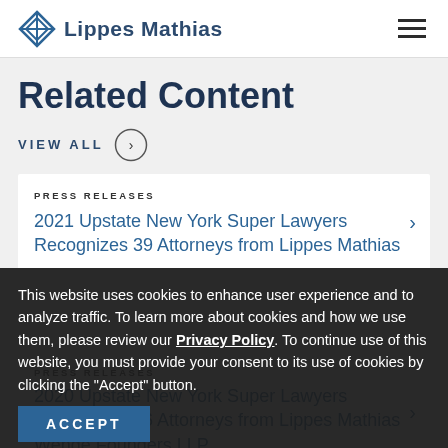Lippes Mathias
Related Content
VIEW ALL
PRESS RELEASES
2021 Upstate New York Super Lawyers Recognizes 39 Attorneys from Lippes Mathias
This website uses cookies to enhance user experience and to analyze traffic. To learn more about cookies and how we use them, please review our Privacy Policy. To continue use of this website, you must provide your consent to its use of cookies by clicking the "Accept" button.
ACCEPT
PRESS RELEASES
2020 Upstate New York Super Lawyers Recognizes 36 Attorneys from Lippes Mathias...